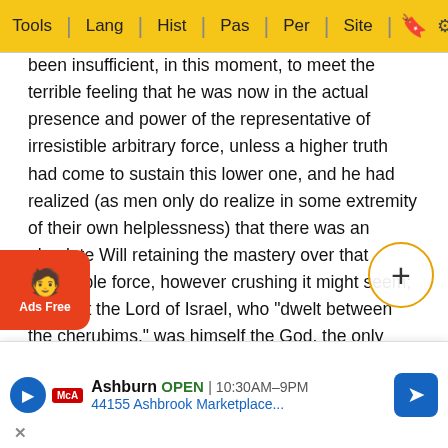Tools | Lang | Hist | Pas | Per | Site
been insufficient, in this moment, to meet the terrible feeling that he was now in the actual presence and power of the representative of irresistible arbitrary force, unless a higher truth had come to sustain this lower one, and he had realized (as men only do realize in some extremity of their own helplessness) that there was an absolute Will retaining the mastery over that irresistible force, however crushing it might seem; and that the Lord of Israel, who "dwelt between the cherubims," was himself the God, the only God, of all the kingdoms of the earth, and so of this Assyrian kingdom among the rest' (Strachey, 'Hebrew Politics,' p. 274). It was the living power of this truth which supported the heart of Hezekiah himself, and which being communicated through his royal example, together with the exhortations and rances of Isaiah to the court and inhabitants of salem, enabled them all to stand still in faith and patier d his host a